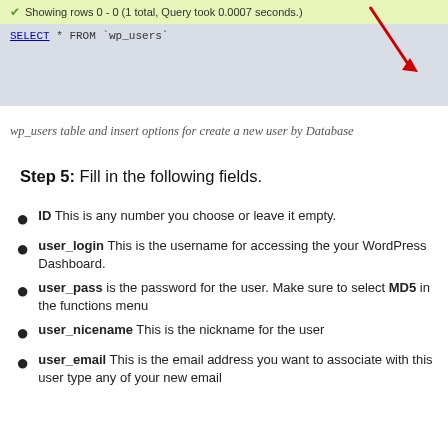[Figure (screenshot): phpMyAdmin query result showing 'Showing rows 0 - 0 (1 total, Query took 0.0007 seconds.)' with green bar, and SQL code 'SELECT * FROM `wp_users`' on grey background, with a red arrow pointing down]
wp_users table and insert options for create a new user by Database
Step 5: Fill in the following fields.
ID This is any number you choose or leave it empty.
user_login This is the username for accessing the your WordPress Dashboard.
user_pass is the password for the user. Make sure to select MD5 in the functions menu
user_nicename This is the nickname for the user
user_email This is the email address you want to associate with this user type any of your new email